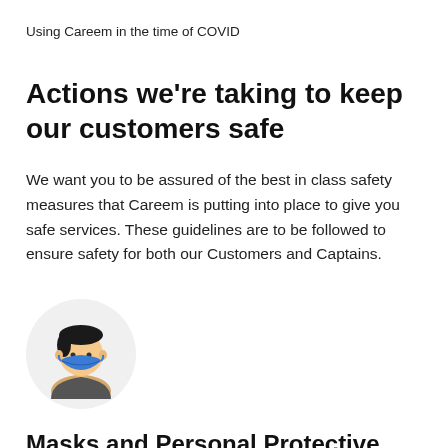Using Careem in the time of COVID
Actions we're taking to keep our customers safe
We want you to be assured of the best in class safety measures that Careem is putting into place to give you safe services. These guidelines are to be followed to ensure safety for both our Customers and Captains.
[Figure (illustration): Circular icon of a person wearing a blue face mask, shown from the shoulders up against a light grey circle background.]
Masks and Personal Protective